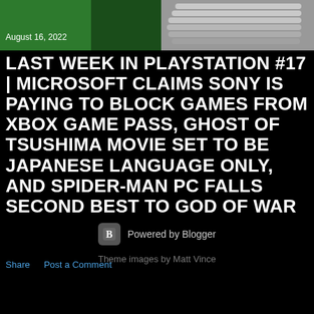[Figure (photo): Header image with green blocks on the left and a PlayStation controller graphic on the right]
August 16, 2022
LAST WEEK IN PLAYSTATION #17 | MICROSOFT CLAIMS SONY IS PAYING TO BLOCK GAMES FROM XBOX GAME PASS, GHOST OF TSUSHIMA MOVIE SET TO BE JAPANESE LANGUAGE ONLY, AND SPIDER-MAN PC FALLS SECOND BEST TO GOD OF WAR
Share   Post a Comment
Powered by Blogger
Theme images by Matt Vince